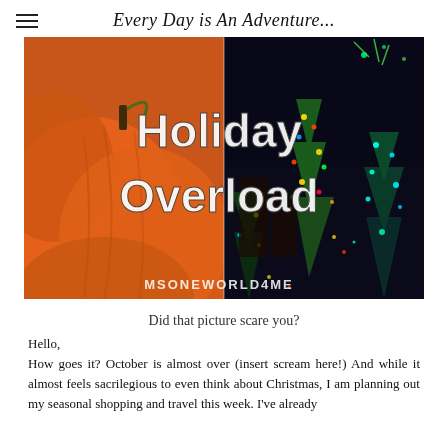Every Day is An Adventure...
[Figure (photo): Split image: left half shows orange pumpkins closeup, right half shows colorful Christmas lights on trees at night. Large white bold text overlay reads 'Holiday Overload'. Bottom center watermark text reads 'MSONEWORLD4ME'.]
Did that picture scare you?
Hello,
How goes it? October is almost over (insert scream here!) And while it almost feels sacrilegious to even think about Christmas, I am planning out my seasonal shopping and travel this week. I've already